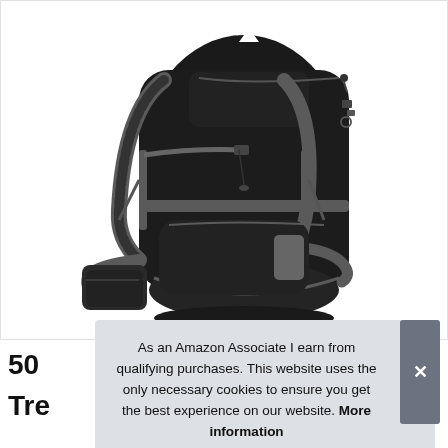[Figure (photo): A black and gray large hiking/trekking backpack with multiple compartments, padded shoulder straps, hip belt, and external attachment points, shown on a white background.]
50
Tre
As an Amazon Associate I earn from qualifying purchases. This website uses the only necessary cookies to ensure you get the best experience on our website. More information